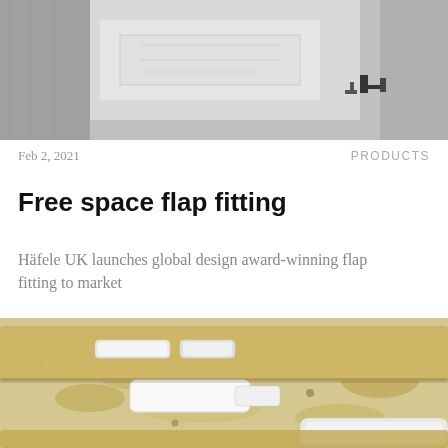[Figure (photo): Black and white photo of a room interior with curtains and a mounted object on the wall]
Feb 2, 2021
PRODUCTS
Free space flap fitting
Häfele UK launches global design award-winning flap fitting to market
[Figure (photo): Close-up photo of hardware fittings on a wood panel surface — white rectangular flap fittings embedded in a wood-grain textured board]